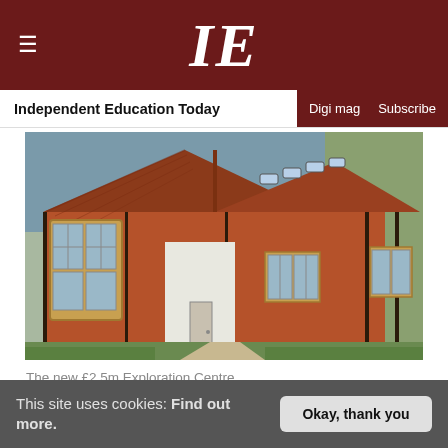IE — Independent Education Today | Digi mag | Subscribe
[Figure (photo): Exterior photo of the new £2.5m Exploration Centre — a red-brick building with timber framing, yellow-framed windows, steep tiled roof with skylights, and a path leading to a white entrance door, surrounded by green lawn.]
The new £2.5m Exploration Centre
The whole school assembled to hear an address from the Old Ludgrovian – known back then as Edward Michael Grylls – in which he talked about life
This site uses cookies: Find out more.